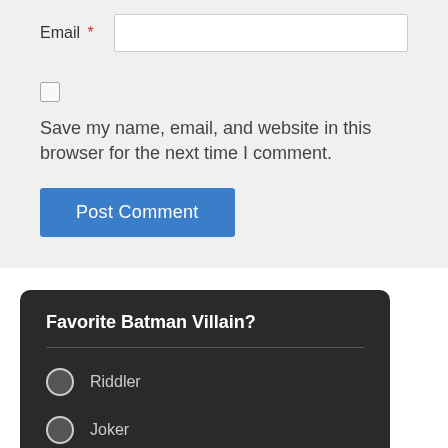Email *
Save my name, email, and website in this browser for the next time I comment.
Post Comment
Favorite Batman Villain?
Riddler
Joker